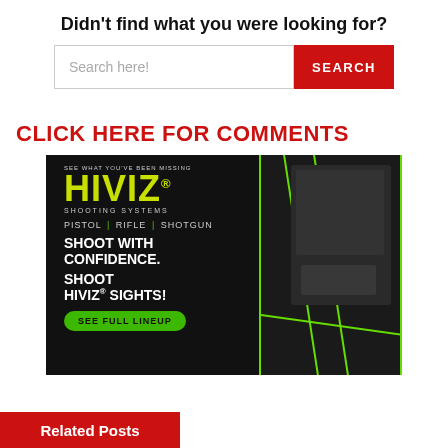Didn't find what you were looking for?
[Figure (screenshot): Search bar with text input field reading 'Search here!' and a red SEARCH button]
CLICK HERE FOR COMMENTS
[Figure (advertisement): HIVIZ Shooting Systems advertisement. Black background with yellow-green HIVIZ logo. Text: PISTOL | RIFLE | SHOTGUN. SHOOT WITH CONFIDENCE. SHOOT HIVIZ® SIGHTS! SEE FULL LINEUP button in green. Right side shows gun with green fiber optic sights.]
Related Posts